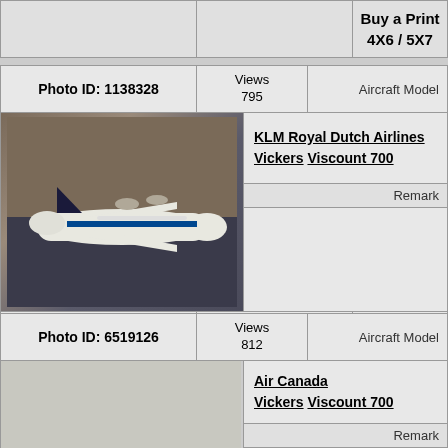|  |  | Buy a Print 4X6 / 5X7 |
| --- | --- | --- |
|  |  | Buy a Print
4X6 / 5X7 |
| Photo ID: 1138328 | Views 795 | Aircraft Model |
| --- | --- | --- |
[Figure (photo): Photo of a KLM Royal Dutch Airlines Vickers Viscount 700 model aircraft, white with dark blue markings, placed on a dark surface]
KLM Royal Dutch Airlines
Vickers Viscount 700
Remark
|  |  | Buy a Print 4X6 / 5X7 |
| --- | --- | --- |
|  |  | Buy a Print
4X6 / 5X7 |
| Photo ID: 6519126 | Views 812 | Aircraft Model |
| --- | --- | --- |
Air Canada
Vickers Viscount 700
Remark
CF-THS This is one of my own castings, both